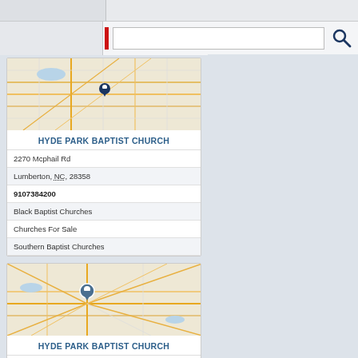[Figure (screenshot): Top navigation bar with search input field and search icon button]
[Figure (map): Map showing location of Hyde Park Baptist Church in Lumberton NC - first listing]
HYDE PARK BAPTIST CHURCH
2270 Mcphail Rd
Lumberton, NC, 28358
9107384200
Black Baptist Churches
Churches For Sale
Southern Baptist Churches
[Figure (map): Map showing location of Hyde Park Baptist Church in Lumberton NC - second listing, with blue pin marker]
HYDE PARK BAPTIST CHURCH
301 N Roberts Ave
Lumberton, NC, 28358
9107394780
Baldwin Branch Missionary Baptist Church